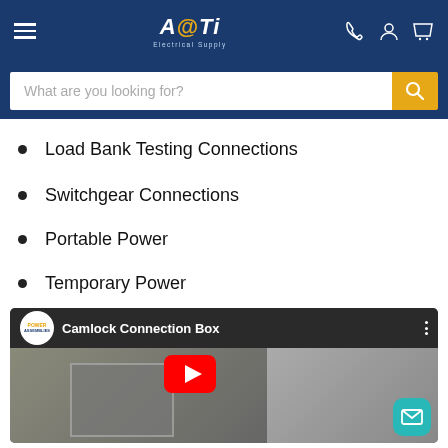ATi Electrical Supply
What are you looking for?
Load Bank Testing Connections
Switchgear Connections
Portable Power
Temporary Power
[Figure (screenshot): YouTube video thumbnail for 'Camlock Connection Box' by Power Assemblies, showing a woman standing next to an open electrical connection box, with a red YouTube play button overlay and a teal email/chat button in the bottom right corner.]